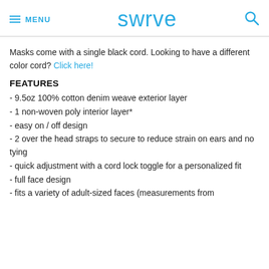MENU | swrve | [search]
Masks come with a single black cord. Looking to have a different color cord? Click here!
FEATURES
- 9.5oz 100% cotton denim weave exterior layer
- 1 non-woven poly interior layer*
- easy on / off design
- 2 over the head straps to secure to reduce strain on ears and no tying
- quick adjustment with a cord lock toggle for a personalized fit
- full face design
- fits a variety of adult-sized faces (measurements from